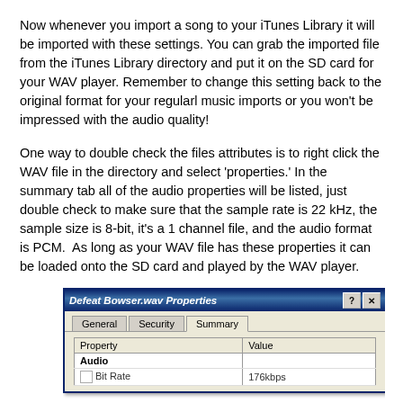Now whenever you import a song to your iTunes Library it will be imported with these settings. You can grab the imported file from the iTunes Library directory and put it on the SD card for your WAV player. Remember to change this setting back to the original format for your regularl music imports or you won't be impressed with the audio quality!
One way to double check the files attributes is to right click the WAV file in the directory and select 'properties.' In the summary tab all of the audio properties will be listed, just double check to make sure that the sample rate is 22 kHz, the sample size is 8-bit, it's a 1 channel file, and the audio format is PCM.  As long as your WAV file has these properties it can be loaded onto the SD card and played by the WAV player.
[Figure (screenshot): Windows XP file properties dialog for 'Defeat Bowser.wav Properties' showing the Summary tab with a table listing Property and Value columns. The Audio section header is visible, followed by a Bit Rate row showing 176kbps.]